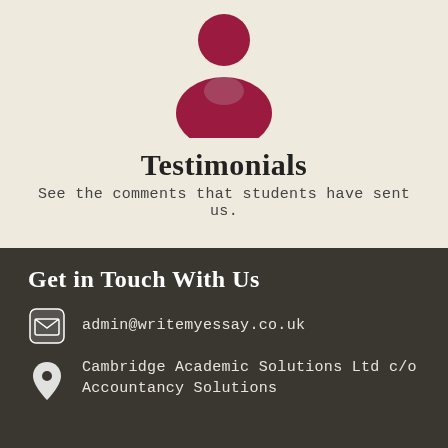[Figure (illustration): Dark red/maroon person silhouette icon — head circle above a body/shoulders shape]
Testimonials
See the comments that students have sent us.
Get in Touch With Us
admin@writemyessay.co.uk
Cambridge Academic Solutions Ltd c/o Accountancy Solutions